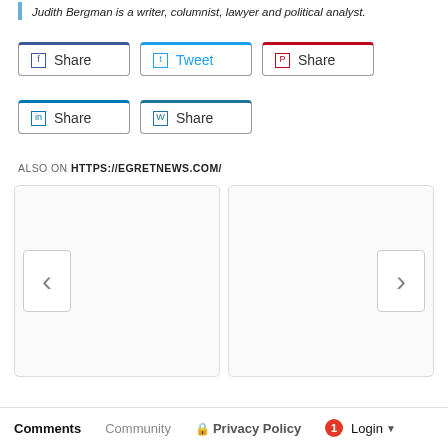Judith Bergman is a writer, columnist, lawyer and political analyst.
Share | Tweet | Share | Share | Share (social share buttons)
ALSO ON HTTPS://EGRETNEWS.COM/
[Figure (screenshot): Carousel widget with two empty card placeholders, left navigation arrow and right navigation arrow]
Comments   Community   Privacy Policy   1   Login